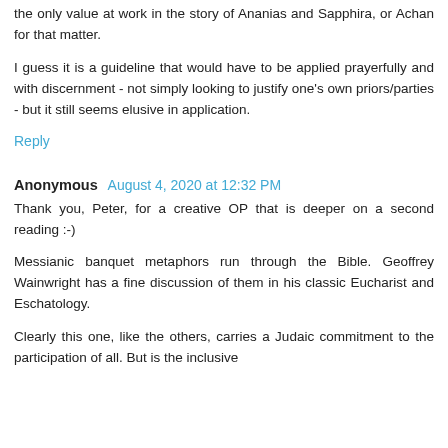the only value at work in the story of Ananias and Sapphira, or Achan for that matter.
I guess it is a guideline that would have to be applied prayerfully and with discernment - not simply looking to justify one's own priors/parties - but it still seems elusive in application.
Reply
Anonymous August 4, 2020 at 12:32 PM
Thank you, Peter, for a creative OP that is deeper on a second reading :-)
Messianic banquet metaphors run through the Bible. Geoffrey Wainwright has a fine discussion of them in his classic Eucharist and Eschatology.
Clearly this one, like the others, carries a Judaic commitment to the participation of all. But is the inclusive